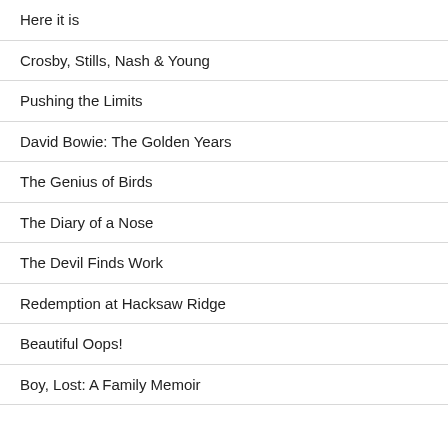Here it is
Crosby, Stills, Nash & Young
Pushing the Limits
David Bowie: The Golden Years
The Genius of Birds
The Diary of a Nose
The Devil Finds Work
Redemption at Hacksaw Ridge
Beautiful Oops!
Boy, Lost: A Family Memoir